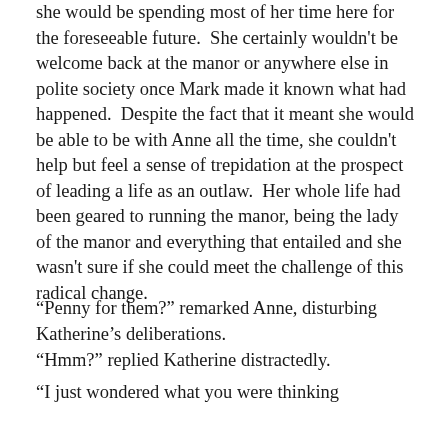she would be spending most of her time here for the foreseeable future.  She certainly wouldn't be welcome back at the manor or anywhere else in polite society once Mark made it known what had happened.  Despite the fact that it meant she would be able to be with Anne all the time, she couldn't help but feel a sense of trepidation at the prospect of leading a life as an outlaw.  Her whole life had been geared to running the manor, being the lady of the manor and everything that entailed and she wasn't sure if she could meet the challenge of this radical change.
“Penny for them?” remarked Anne, disturbing Katherine’s deliberations.
“Hmm?” replied Katherine distractedly.
“I just wondered what you were thinking about,” clarified Anne, “Though it looks like you have more like several shillings worth of thoughts on your mind.”
“I was thinking about the future,” explained